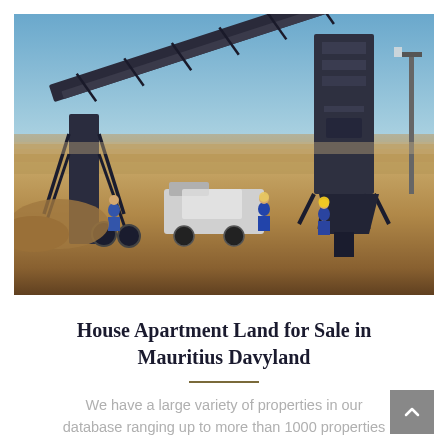[Figure (photo): Industrial mining or construction site with large conveyor belt structure, heavy machinery, and workers in blue uniforms and yellow hard hats on sandy ground under a clear blue sky.]
House Apartment Land for Sale in Mauritius Davyland
We have a large variety of properties in our database ranging up to more than 1000 properties